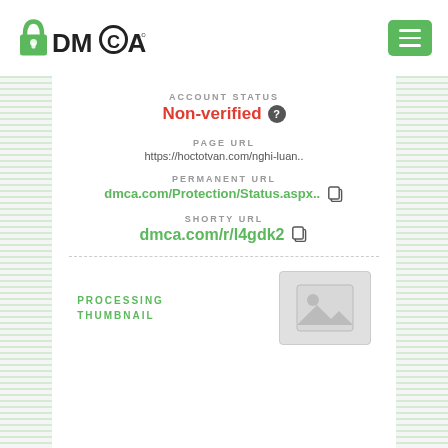[Figure (logo): DMCA.com logo with padlock icon]
ACCOUNT STATUS
Non-verified
PAGE URL
https://hoctotvan.com/nghi-luan..
PERMANENT URL
dmca.com/Protection/Status.aspx..
SHORTY URL
dmca.com/r/l4gdk2
PROCESSING THUMBNAIL
[Figure (photo): Placeholder thumbnail image with mountain/image icon]